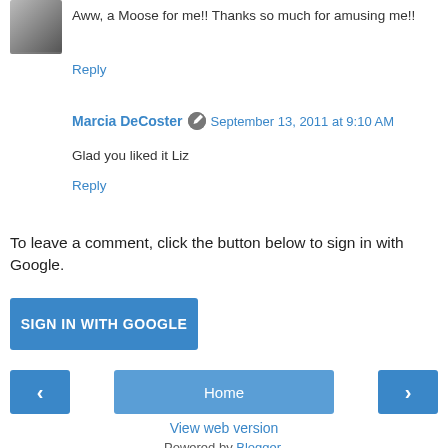Aww, a Moose for me!! Thanks so much for amusing me!!
Reply
Marcia DeCoster  September 13, 2011 at 9:10 AM
Glad you liked it Liz
Reply
To leave a comment, click the button below to sign in with Google.
SIGN IN WITH GOOGLE
Home
View web version
Powered by Blogger.